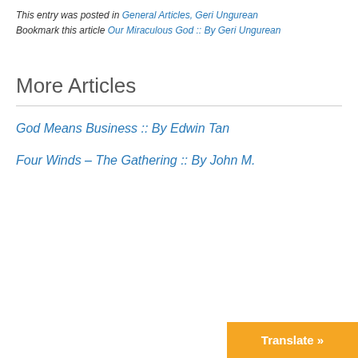This entry was posted in General Articles, Geri Ungurean Bookmark this article Our Miraculous God :: By Geri Ungurean
More Articles
God Means Business :: By Edwin Tan
Four Winds – The Gathering :: By John M.
Translate »